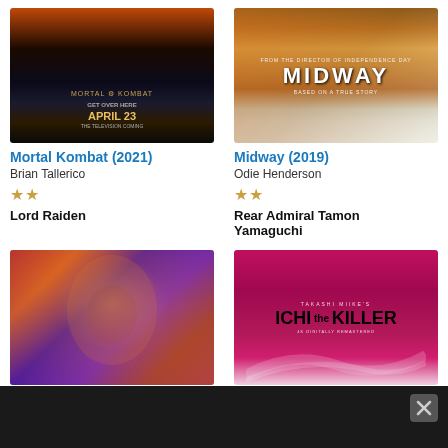[Figure (photo): Mortal Kombat (2021) movie poster showing fire, earth globe, and April 23 release date on dark background]
Mortal Kombat (2021)
Brian Tallerico
★★
Lord Raiden
[Figure (photo): Midway (2019) movie poster showing naval battle scene with fire and planes]
Midway (2019)
Odie Henderson
★★
Rear Admiral Tamon Yamaguchi
[Figure (photo): Colorful artistic movie poster with a face overlaid with vivid orange, red, and purple psychedelic imagery]
[Figure (photo): Ichi the Killer movie poster with magenta/pink background and bold black title text, stating 4K Digitally Remastered]